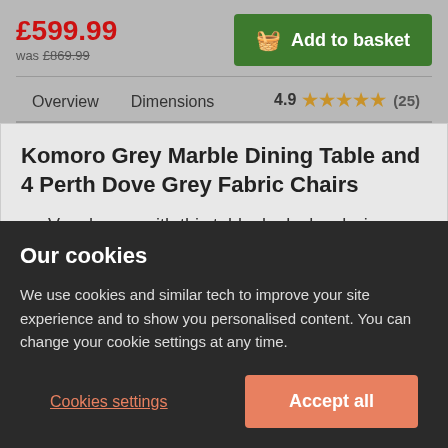£599.99
was £869.99
Add to basket
Overview
Dimensions
4.9 ★★★★★ (25)
Komoro Grey Marble Dining Table and 4 Perth Dove Grey Fabric Chairs
— Very happy with this table, looks lovely, i am worried about it getting scratched i feel it could be easily marked
Our cookies
We use cookies and similar tech to improve your site experience and to show you personalised content. You can change your cookie settings at any time.
Cookies settings
Accept all